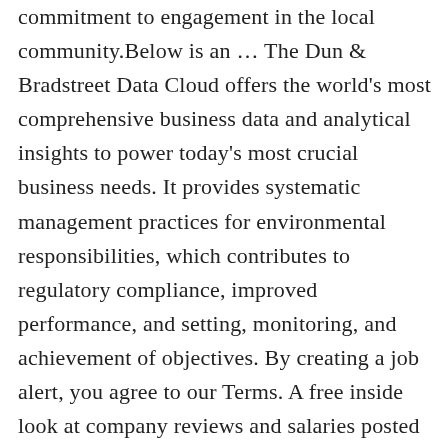commitment to engagement in the local community.Below is an … The Dun & Bradstreet Data Cloud offers the world's most comprehensive business data and analytical insights to power today's most crucial business needs. It provides systematic management practices for environmental responsibilities, which contributes to regulatory compliance, improved performance, and setting, monitoring, and achievement of objectives. By creating a job alert, you agree to our Terms. A free inside look at company reviews and salaries posted anonymously by employees. Thule Group Seymour, CT. PFest_2019Sponsors_6. This certification also aligns with ISO 9001 and is still managed in cooperation with ISO. … Andrews will be the key contact for Thule's western national …read more. For dynamic search and list-building